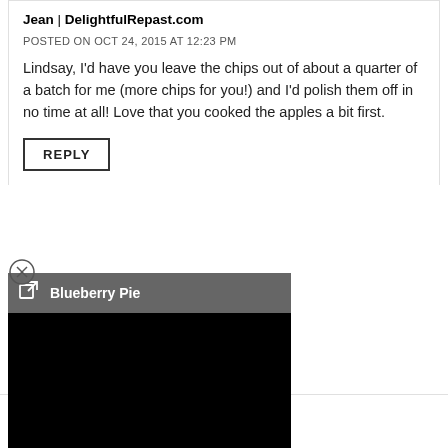Jean | DelightfulRepast.com
POSTED ON OCT 24, 2015 AT 12:23 PM
Lindsay, I’d have you leave the chips out of about a quarter of a batch for me (more chips for you!) and I’d polish them off in no time at all! Love that you cooked the apples a bit first.
REPLY
[Figure (screenshot): Dark popup tooltip bar showing an external link icon and the text 'Blueberry Pie' on a grey background, with a black content area below representing an embedded media player or image]
[Figure (photo): Partially visible circular avatar image at the bottom of the page, light grey/white tones]